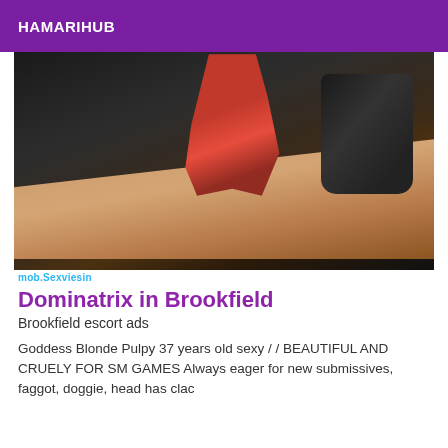HAMARIHUB
[Figure (photo): A dominatrix scene showing red high heel shoes stepping on a person, with a black leather glove holding handcuffs, against a dark background.]
mob.Sexviesin
Dominatrix in Brookfield
Brookfield escort ads
Goddess Blonde Pulpy 37 years old sexy / / BEAUTIFUL AND CRUELY FOR SM GAMES Always eager for new submissives, faggot, doggie, head has clac